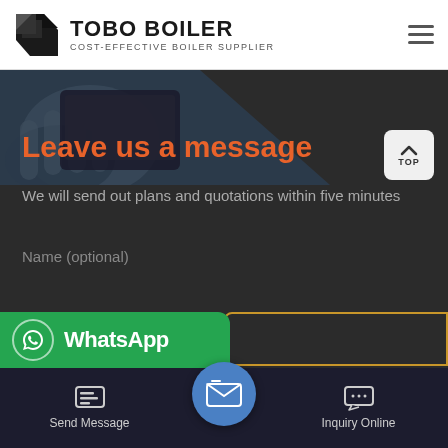[Figure (logo): TOBO BOILER logo with geometric icon and text 'COST-EFFECTIVE BOILER SUPPLIER']
[Figure (photo): Dark background section with partial hand/person photo in upper left corner, diagonal dark overlay]
Leave us a message
We will send out plans and quotations within five minutes
Name (optional)
[Figure (screenshot): WhatsApp banner with green background showing WhatsApp icon and 'WhatsApp' text]
[Figure (infographic): Bottom navigation bar with Send Message button (left), circular blue email icon (center), and Inquiry Online button (right)]